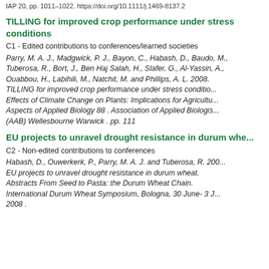IAP 20, pp. 1011–1022. https://doi.org/10.1111/j.1469-8137.2
TILLING for improved crop performance under stress conditions
C1 - Edited contributions to conferences/learned societies
Parry, M. A. J., Madgwick, P. J., Bayon, C., Habash, D., Baudo, M., Tuberosa, R., Bort, J., Ben Haj Salah, H., Slafer, G., Al-Yassin, A., Ouabbou, H., Labihili, M., Natchit, M. and Phillips, A. L. 2008. TILLING for improved crop performance under stress conditions. Effects of Climate Change on Plants: Implications for Agriculture. Aspects of Applied Biology 88 . Association of Applied Biologists (AAB) Wellesbourne Warwick . pp. 111
EU projects to unravel drought resistance in durum wheat
C2 - Non-edited contributions to conferences
Habash, D., Ouwerkerk, P., Parry, M. A. J. and Tuberosa, R. 2008. EU projects to unravel drought resistance in durum wheat. Abstracts From Seed to Pasta: the Durum Wheat Chain. International Durum Wheat Symposium, Bologna, 30 June- 3 July 2008 .